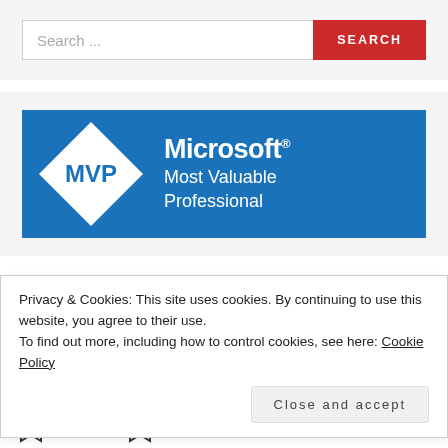[Figure (screenshot): Search bar with text input field reading 'Search ...' and a red 'SEARCH' button]
[Figure (logo): Microsoft MVP Most Valuable Professional blue badge logo with white diamond shape containing 'MVP' text]
Privacy & Cookies: This site uses cookies. By continuing to use this website, you agree to their use.
To find out more, including how to control cookies, see here: Cookie Policy
Close and accept
Maintainer